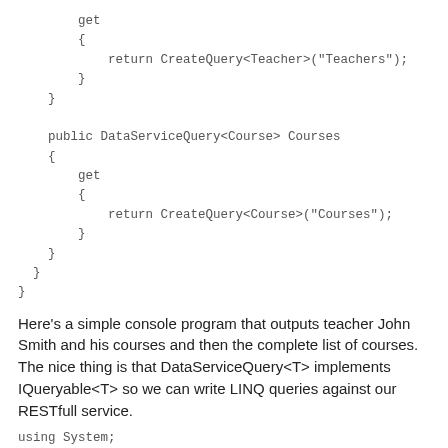get
        {
            return CreateQuery<Teacher>("Teachers");
        }
    }

    public DataServiceQuery<Course> Courses
    {
        get
        {
            return CreateQuery<Course>("Courses");
        }
    }
}
}
Here's a simple console program that outputs teacher John Smith and his courses and then the complete list of courses. The nice thing is that DataServiceQuery<T> implements IQueryable<T> so we can write LINQ queries against our RESTfull service.
using System;
using System.Linq;
using System.Data.Services.Client;
using Mike.DataServices.Client.Model;